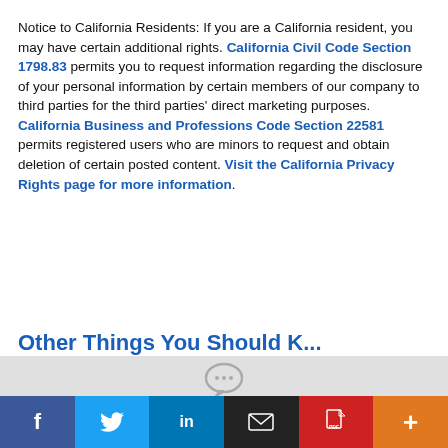Notice to California Residents: If you are a California resident, you may have certain additional rights. California Civil Code Section 1798.83 permits you to request information regarding the disclosure of your personal information by certain members of our company to third parties for the third parties' direct marketing purposes. California Business and Professions Code Section 22581 permits registered users who are minors to request and obtain deletion of certain posted content. Visit the California Privacy Rights page for more information.
Other Things You Should K…
This site uses cookies to provide a great user experience.